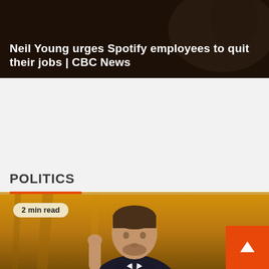[Figure (photo): Dark news article thumbnail image with overlaid white bold headline text about Neil Young urging Spotify employees to quit their jobs, CBC News]
Neil Young urges Spotify employees to quit their jobs | CBC News
POLITICS
[Figure (photo): Photo of a young man in a dark suit with white shirt, hand raised, speaking, with a golden/orange curtain background. A '2 min read' badge overlays the top-left corner. A back-to-top orange button is in the bottom-right.]